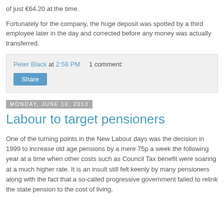of just €64.20 at the time.
Fortunately for the company, the huge deposit was spotted by a third employee later in the day and corrected before any money was actually transferred.
Peter Black at 2:58 PM    1 comment:
Share
Monday, June 10, 2013
Labour to target pensioners
One of the turning points in the New Labour days was the decision in 1999 to increase old age pensions by a mere 75p a week the following year at a time when other costs such as Council Tax benefit were soaring at a much higher rate. It is an insult still felt keenly by many pensioners along with the fact that a so-called progressive government failed to relink the state pension to the cost of living.